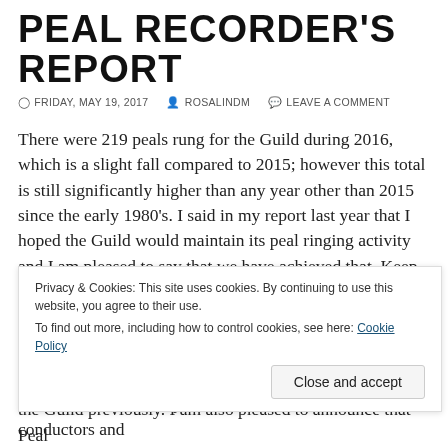PEAL RECORDER'S REPORT
FRIDAY, MAY 19, 2017   ROSALINDM   LEAVE A COMMENT
There were 219 peals rung for the Guild during 2016, which is a slight fall compared to 2015; however this total is still significantly higher than any year other than 2015 since the early 1980's. I said in my report last year that I hoped the Guild would maintain its peal ringing activity and I am pleased to say that we have achieved that. Keep it going!
I must thank Andrew Craddock for sharing the statistics generated by PealBase, allowing me to cross-check the Guild's records. Finally I would like to thank all those conductors and
Privacy & Cookies: This site uses cookies. By continuing to use this website, you agree to their use.
To find out more, including how to control cookies, see here: Cookie Policy
Close and accept
the Guild previously. I am also pleased to announce that Peal